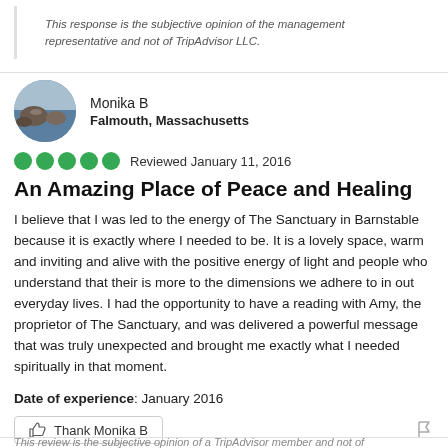This response is the subjective opinion of the management representative and not of TripAdvisor LLC.
Monika B
Falmouth, Massachusetts
Reviewed January 11, 2016
An Amazing Place of Peace and Healing
I believe that I was led to the energy of The Sanctuary in Barnstable because it is exactly where I needed to be. It is a lovely space, warm and inviting and alive with the positive energy of light and people who understand that their is more to the dimensions we adhere to in out everyday lives. I had the opportunity to have a reading with Amy, the proprietor of The Sanctuary, and was delivered a powerful message that was truly unexpected and brought me exactly what I needed spiritually in that moment.
Date of experience: January 2016
Thank Monika B
This review is the subjective opinion of a TripAdvisor member and not of